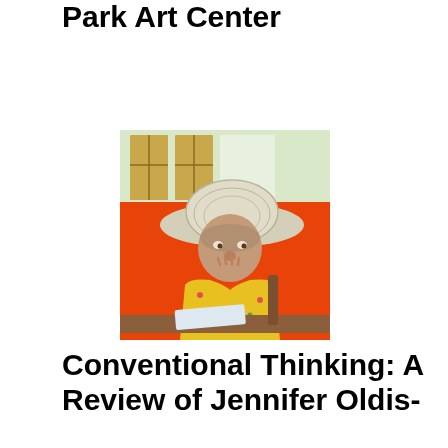Park Art Center
[Figure (illustration): A painting of an elderly woman wearing a wide-brimmed striped hat and a yellow floral dress, seated at a table with papers, hand raised to chin in a thoughtful pose, against an orange background with windows visible behind her.]
Conventional Thinking: A Review of Jennifer Oldis-